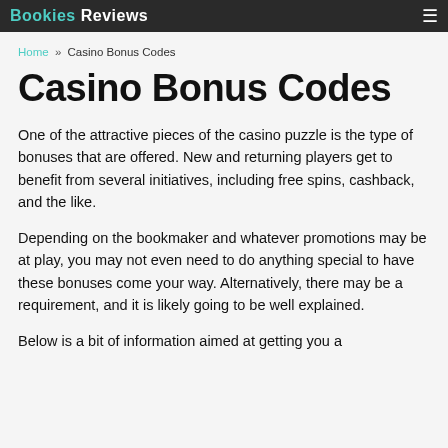Bookies Reviews
Home » Casino Bonus Codes
Casino Bonus Codes
One of the attractive pieces of the casino puzzle is the type of bonuses that are offered. New and returning players get to benefit from several initiatives, including free spins, cashback, and the like.
Depending on the bookmaker and whatever promotions may be at play, you may not even need to do anything special to have these bonuses come your way. Alternatively, there may be a requirement, and it is likely going to be well explained.
Below is a bit of information aimed at getting you a